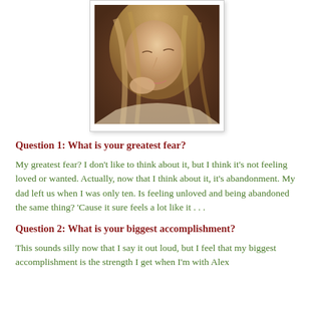[Figure (photo): Close-up photo of a young woman with long blonde hair resting her head on her hand, looking downward, with a contemplative or sad expression. Photo is framed with a white border and slight shadow.]
Question 1: What is your greatest fear?
My greatest fear? I don’t like to think about it, but I think it’s not feeling loved or wanted.  Actually, now that I think about it, it’s abandonment. My dad left us when I was only ten. Is feeling unloved and being abandoned the same thing? ‘Cause it sure feels a lot like it . . .
Question 2: What is your biggest accomplishment?
This sounds silly now that I say it out loud, but I feel that my biggest accomplishment is the strength I get when I’m with Alex